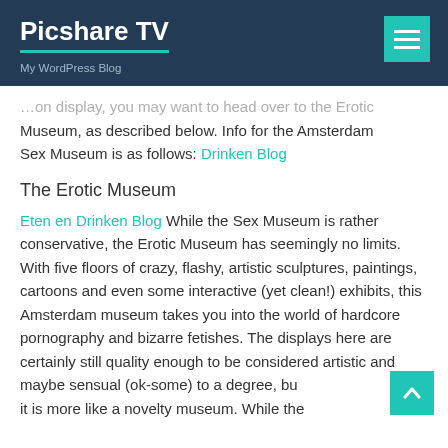Picshare TV — My WordPress Blog
…on display, you may want to head over to the Erotic Museum, as described below. Info for the Amsterdam Sex Museum is as follows: Drinken Blog
The Erotic Museum
Eten en Drinken Blog While the Sex Museum is rather conservative, the Erotic Museum has seemingly no limits. With five floors of crazy, flashy, artistic sculptures, paintings, cartoons and even some interactive (yet clean!) exhibits, this Amsterdam museum takes you into the world of hardcore pornography and bizarre fetishes. The displays here are certainly still quality enough to be considered artistic and maybe sensual (ok-some) to a degree, but it is more like a novelty museum. While the